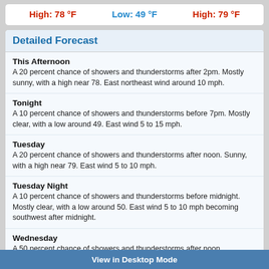High: 78 °F   Low: 49 °F   High: 79 °F
Detailed Forecast
This Afternoon
A 20 percent chance of showers and thunderstorms after 2pm. Mostly sunny, with a high near 78. East northeast wind around 10 mph.
Tonight
A 10 percent chance of showers and thunderstorms before 7pm. Mostly clear, with a low around 49. East wind 5 to 15 mph.
Tuesday
A 20 percent chance of showers and thunderstorms after noon. Sunny, with a high near 79. East wind 5 to 10 mph.
Tuesday Night
A 10 percent chance of showers and thunderstorms before midnight. Mostly clear, with a low around 50. East wind 5 to 10 mph becoming southwest after midnight.
Wednesday
A 50 percent chance of showers and thunderstorms after noon. Increasing clouds, with a high near 81. Southwest wind 5 to 15 mph becoming east in the afternoon. New rainfall amounts of less than a tenth of an inch, except higher amounts possible in thunderstorms.
Wednesday Night
View in Desktop Mode